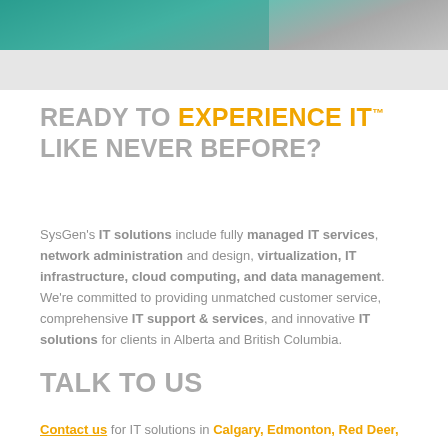[Figure (photo): Banner photo of people in a teal/turquoise colored office or IT environment, partially visible at top of page]
READY TO EXPERIENCE IT™ LIKE NEVER BEFORE?
SysGen's IT solutions include fully managed IT services, network administration and design, virtualization, IT infrastructure, cloud computing, and data management. We're committed to providing unmatched customer service, comprehensive IT support & services, and innovative IT solutions for clients in Alberta and British Columbia.
TALK TO US
Contact us for IT solutions in Calgary, Edmonton, Red Deer,